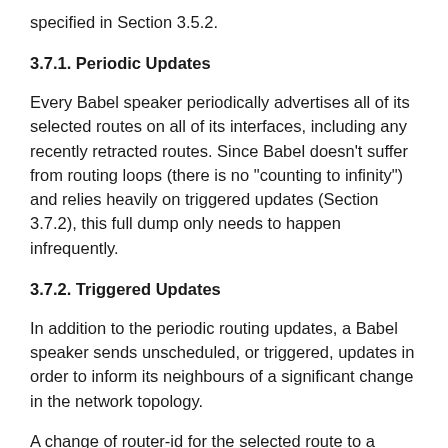specified in Section 3.5.2.
3.7.1. Periodic Updates
Every Babel speaker periodically advertises all of its selected routes on all of its interfaces, including any recently retracted routes. Since Babel doesn't suffer from routing loops (there is no "counting to infinity") and relies heavily on triggered updates (Section 3.7.2), this full dump only needs to happen infrequently.
3.7.2. Triggered Updates
In addition to the periodic routing updates, a Babel speaker sends unscheduled, or triggered, updates in order to inform its neighbours of a significant change in the network topology.
A change of router-id for the selected route to a given prefix may be indicative of a routing loop in formation; hence, a node MUST send a triggered update in a timely manner